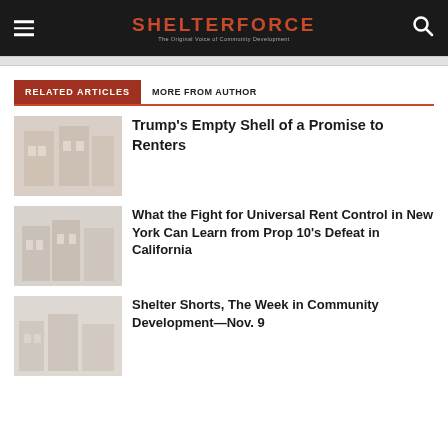SHELTERFORCE — The Original Voice of Community Development
RELATED ARTICLES | MORE FROM AUTHOR
[Figure (photo): Thumbnail image of a building for related article 1]
Trump's Empty Shell of a Promise to Renters
[Figure (photo): Thumbnail image of a building for related article 2]
What the Fight for Universal Rent Control in New York Can Learn from Prop 10's Defeat in California
[Figure (photo): Thumbnail image for related article 3]
Shelter Shorts, The Week in Community Development—Nov. 9